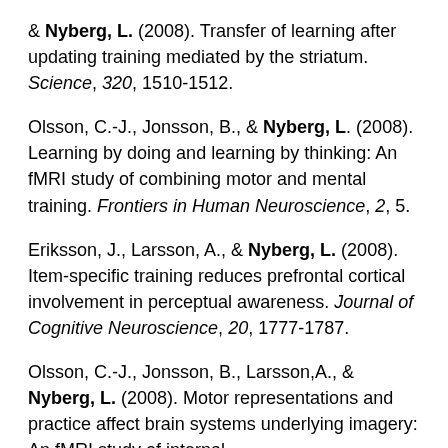& Nyberg, L. (2008). Transfer of learning after updating training mediated by the striatum. Science, 320, 1510-1512.
Olsson, C.-J., Jonsson, B., & Nyberg, L. (2008). Learning by doing and learning by thinking: An fMRI study of combining motor and mental training. Frontiers in Human Neuroscience, 2, 5.
Eriksson, J., Larsson, A., & Nyberg, L. (2008). Item-specific training reduces prefrontal cortical involvement in perceptual awareness. Journal of Cognitive Neuroscience, 20, 1777-1787.
Olsson, C.-J., Jonsson, B., Larsson, A., & Nyberg, L. (2008). Motor representations and practice affect brain systems underlying imagery: An fMRI study of internal...